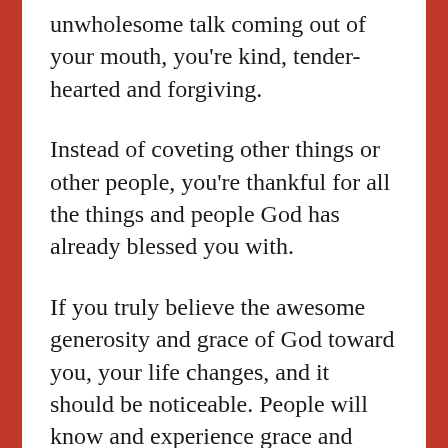unwholesome talk coming out of your mouth, you're kind, tender-hearted and forgiving.
Instead of coveting other things or other people, you're thankful for all the things and people God has already blessed you with.
If you truly believe the awesome generosity and grace of God toward you, your life changes, and it should be noticeable. People will know and experience grace and peace and forgiveness and encouragement and hope from you because you're an instrument of God's grace.